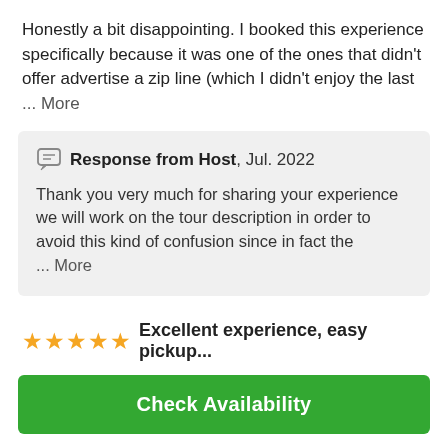Honestly a bit disappointing. I booked this experience specifically because it was one of the ones that didn't offer advertise a zip line (which I didn't enjoy the last … More
Response from Host, Jul. 2022
Thank you very much for sharing your experience we will work on the tour description in order to avoid this kind of confusion since in fact the … More
Excellent experience, easy pickup...
Jessica R, Dec. 2016
Check Availability